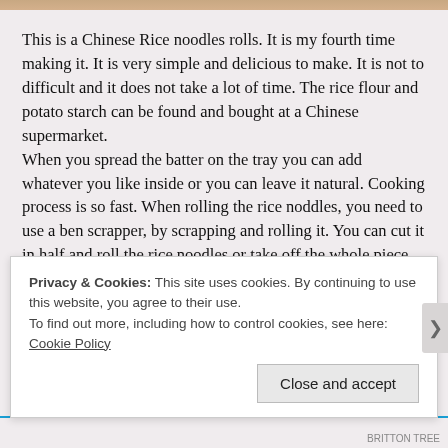This is a Chinese Rice noodles rolls. It is my fourth time making it. It is very simple and delicious to make. It is not to difficult and it does not take a lot of time. The rice flour and potato starch can be found and bought at a Chinese supermarket.
When you spread the batter on the tray you can add whatever you like inside or you can leave it natural. Cooking process is so fast. When rolling the rice noddles, you need to use a ben scrapper, by scrapping and rolling it. You can cut it in half and roll the rice noodles or take off the whole piece from the tray and roll it all in one piece. When rolling the rice noodles, make sure it is not to thick or to thin. And wait it is finished rolling...
Privacy & Cookies: This site uses cookies. By continuing to use this website, you agree to their use.
To find out more, including how to control cookies, see here: Cookie Policy
Close and accept